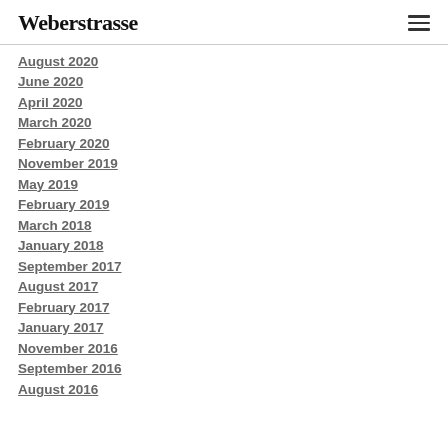Weberstrasse
August 2020
June 2020
April 2020
March 2020
February 2020
November 2019
May 2019
February 2019
March 2018
January 2018
September 2017
August 2017
February 2017
January 2017
November 2016
September 2016
August 2016